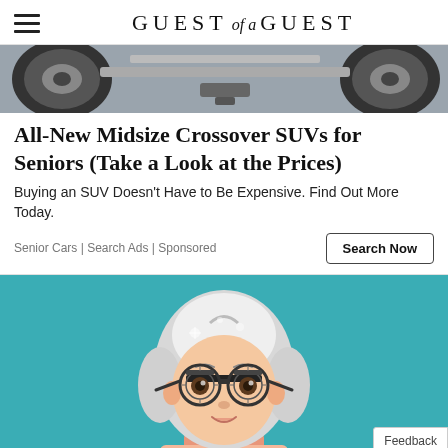GUEST of a GUEST
[Figure (photo): Bottom of a car showing wheels and undercarriage, cropped image strip]
All-New Midsize Crossover SUVs for Seniors (Take a Look at the Prices)
Buying an SUV Doesn't Have to Be Expensive. Find Out More Today.
Senior Cars | Search Ads | Sponsored
[Figure (illustration): Cartoon illustration of an elderly woman with white hair wearing optometrist trial frame glasses, on a teal background, with a Feedback button in the bottom right corner]